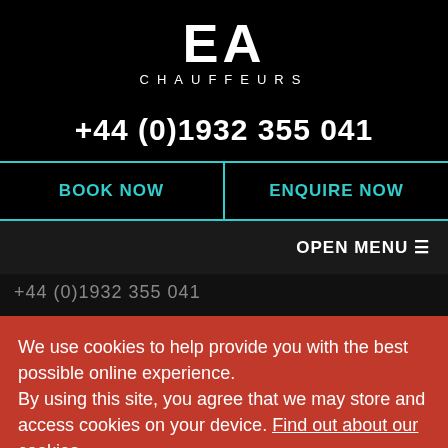EA CHAUFFEURS
+44 (0)1932 355 041
BOOK NOW
ENQUIRE NOW
OPEN MENU ☰
+44 (0)1932 355 041
We use cookies to help provide you with the best possible online experience.
By using this site, you agree that we may store and access cookies on your device. Find out about our cookies.
✓ GOT IT